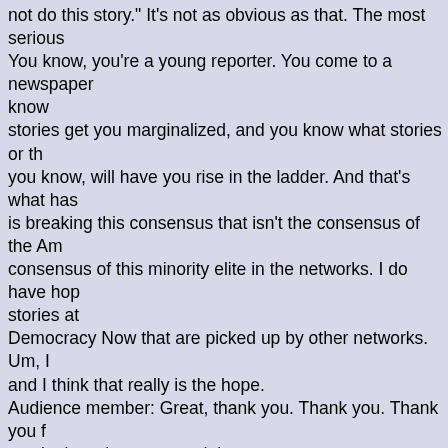not do this story." It's not as obvious as that. The most serious You know, you're a young reporter. You come to a newspaper know stories get you marginalized, and you know what stories or th you know, will have you rise in the ladder. And that's what has is breaking this consensus that isn't the consensus of the Am consensus of this minority elite in the networks. I do have hop stories at Democracy Now that are picked up by other networks. Um, I and I think that really is the hope. Audience member: Great, thank you. Thank you. Thank you f continuing what you are doing. 2nd audience member (male): Hey, Amy, I'm a huge fan of the the show. It's such a service to democracy. I still don't really h head. But I would just be really upset if I were here in front of ask a question, so... (laughter) so uh, um. Amy Goodman: Oh I know... I, I hear your question. How can you help get word out? Is that your question? (indistinct chatter) (laughter)